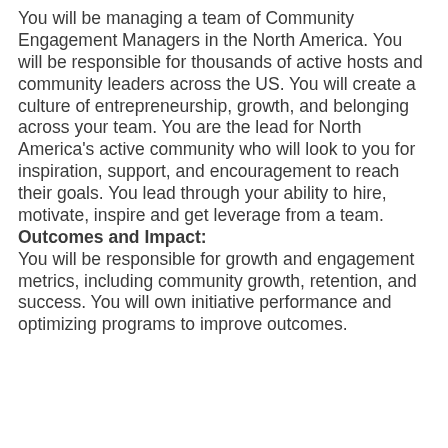You will be managing a team of Community Engagement Managers in the North America. You will be responsible for thousands of active hosts and community leaders across the US. You will create a culture of entrepreneurship, growth, and belonging across your team. You are the lead for North America's active community who will look to you for inspiration, support, and encouragement to reach their goals. You lead through your ability to hire, motivate, inspire and get leverage from a team.
Outcomes and Impact:
You will be responsible for growth and engagement metrics, including community growth, retention, and success. You will own initiative performance and optimizing programs to improve outcomes.